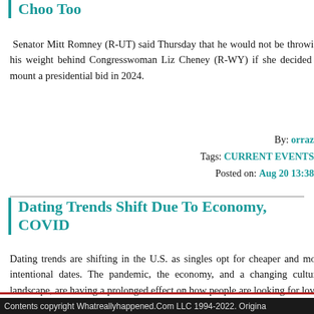Choo Too
Senator Mitt Romney (R-UT) said Thursday that he would not be throwing his weight behind Congresswoman Liz Cheney (R-WY) if she decided to mount a presidential bid in 2024.
By: orraz
Tags: CURRENT EVENTS
Posted on: Aug 20 13:38
Dating Trends Shift Due To Economy, COVID
Dating trends are shifting in the U.S. as singles opt for cheaper and more intentional dates. The pandemic, the economy, and a changing cultural landscape, are having a prolonged effect on how people are looking for love.
By: orraz
Tags: CURRENT EVENTS
Contents copyright Whatreallyhappened.Com LLC 1994-2022. Origina